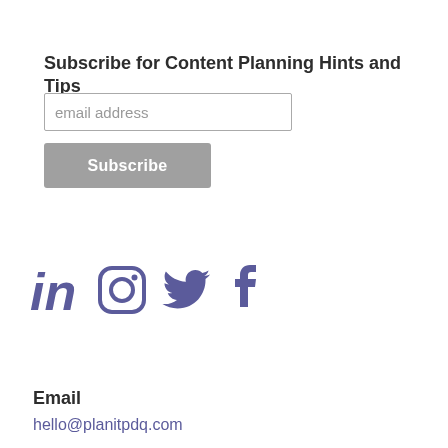Subscribe for Content Planning Hints and Tips
email address
Subscribe
[Figure (infographic): Social media icons: LinkedIn, Instagram, Twitter, Facebook in muted purple/indigo color]
Email
hello@planitpdq.com